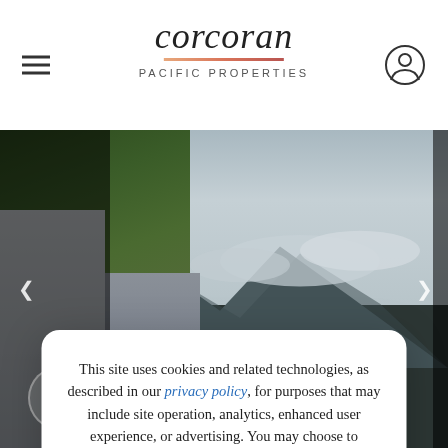[Figure (logo): Corcoran Pacific Properties logo with italic script wordmark, colored underline, and spaced-caps subtitle]
[Figure (photo): Outdoor scene with tropical vegetation, ivy-covered wall, stone fence, and misty mountains in background]
This site uses cookies and related technologies, as described in our privacy policy, for purposes that may include site operation, analytics, enhanced user experience, or advertising. You may choose to consent to our use of these technologies, or manage your own preferences.
ACCEPT
DECLINE